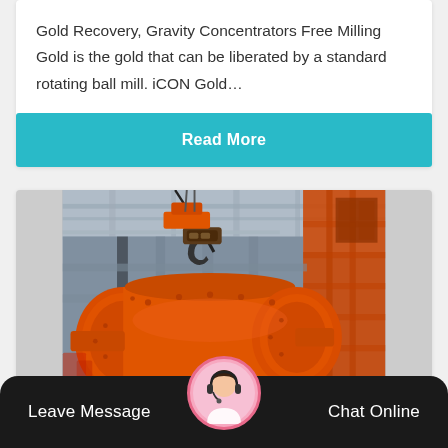Gold Recovery, Gravity Concentrators Free Milling Gold is the gold that can be liberated by a standard rotating ball mill. iCON Gold…
Read More
[Figure (photo): Large orange industrial ball mill inside a factory/industrial facility with overhead crane hook visible, metal framework structures, and industrial ceiling in background.]
Leave Message   Chat Online